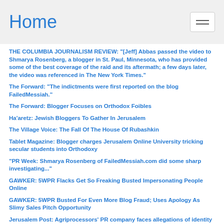Home
THE COLUMBIA JOURNALISM REVIEW: "[Jeff] Abbas passed the video to Shmarya Rosenberg, a blogger in St. Paul, Minnesota, who has provided some of the best coverage of the raid and its aftermath; a few days later, the video was referenced in The New York Times."
The Forward: "The indictments were first reported on the blog FailedMessiah."
The Forward: Blogger Focuses on Orthodox Foibles
Ha'aretz: Jewish Bloggers To Gather In Jerusalem
The Village Voice: The Fall Of The House Of Rubashkin
Tablet Magazine: Blogger charges Jerusalem Online University tricking secular students into Orthodoxy
"PR Week: Shmarya Rosenberg of FailedMessiah.com did some sharp investigating..."
GAWKER: 5WPR Flacks Get So Freaking Busted Impersonating People Online
GAWKER: 5WPR Busted For Even More Blog Fraud; Uses Apology As Slimy Sales Pitch Opportunity
Jerusalem Post: Agriprocessors' PR company faces allegations of identity theft
The Forward: Flacks for Kosher Slaughterhouse Accused of Impersonating Company' s Critics Online
The Forward: Flacks for Kosher Company Admit Impersonation
JTA: PR firm accused of impersonating rabbi